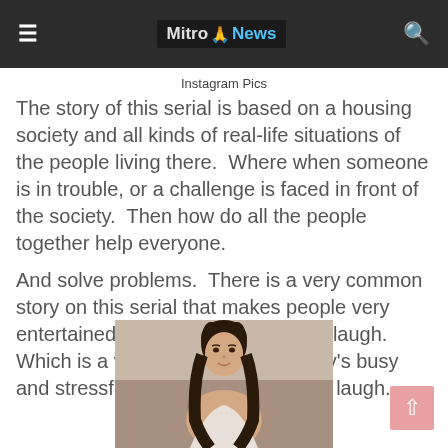≡  Mitro 🙏 News  🔍
Instagram Pics
The story of this serial is based on a housing society and all kinds of real-life situations of the people living there.  Where when someone is in trouble, or a challenge is faced in front of the society.  Then how do all the people together help everyone.
And solve problems.  There is a very common story on this serial that makes people very entertained and also makes people laugh.  Which is a very difficult task in today's busy and stressful life, to make someone laugh.
[Figure (photo): Portrait photo of a young woman with dark hair, smiling, against a neutral background]